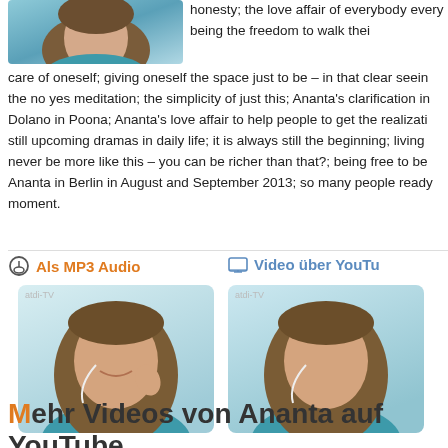[Figure (photo): Partial photo of a person at top left, cropped]
honesty; the love affair of everybody every being the freedom to walk their care of oneself; giving oneself the space just to be – in that clear seeing the no yes meditation; the simplicity of just this; Ananta's clarification in Dolano in Poona; Ananta's love affair to help people to get the realisation still upcoming dramas in daily life; it is always still the beginning; living never be more like this – you can be richer than that?; being free to be Ananta in Berlin in August and September 2013; so many people ready moment.
Als MP3 Audio
Video über YouTu
[Figure (photo): Video thumbnail showing a smiling person with long hair wearing teal, with earphones, label atdi-TV]
[Figure (photo): Video thumbnail showing same person with a more neutral expression, wearing teal, with earphones, label atdi-TV]
Mehr Videos von Ananta auf YouTube